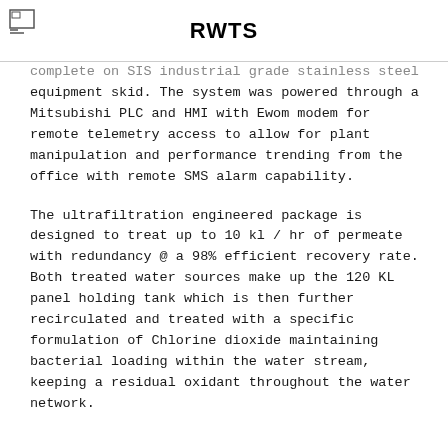RWTS
complete on SIS industrial grade stainless steel equipment skid. The system was powered through a Mitsubishi PLC and HMI with Ewom modem for remote telemetry access to allow for plant manipulation and performance trending from the office with remote SMS alarm capability.
The ultrafiltration engineered package is designed to treat up to 10 kl / hr of permeate with redundancy @ a 98% efficient recovery rate. Both treated water sources make up the 120 KL panel holding tank which is then further recirculated and treated with a specific formulation of Chlorine dioxide maintaining bacterial loading within the water stream, keeping a residual oxidant throughout the water network.